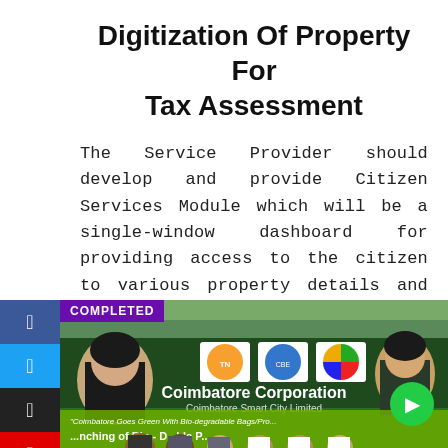Digitization Of Property For Tax Assessment
The Service Provider should develop and provide Citizen Services Module which will be a single-window dashboard for providing access to the citizen to various property details and to avail online services
[Figure (photo): Photo showing a Coimbatore Corporation / Coimbatore Smart City Limited event banner with officials, featuring text 'Coimbatore Goes Green With Bio-degradable Bags/Products' and 'Launching of Bio-Degradable Products'. A 'COMPLETED' badge overlays the top-left. Social media share buttons appear on the left sidebar.]